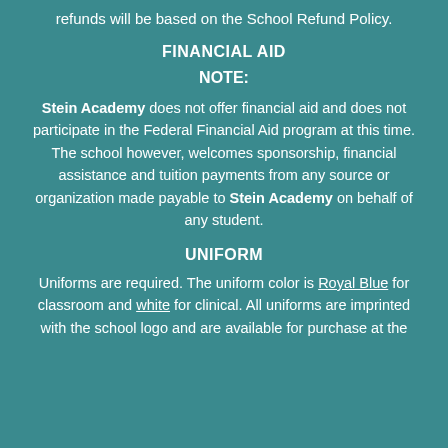refunds will be based on the School Refund Policy.
FINANCIAL AID
NOTE:
Stein Academy does not offer financial aid and does not participate in the Federal Financial Aid program at this time. The school however, welcomes sponsorship, financial assistance and tuition payments from any source or organization made payable to Stein Academy on behalf of any student.
UNIFORM
Uniforms are required. The uniform color is Royal Blue for classroom and white for clinical. All uniforms are imprinted with the school logo and are available for purchase at the